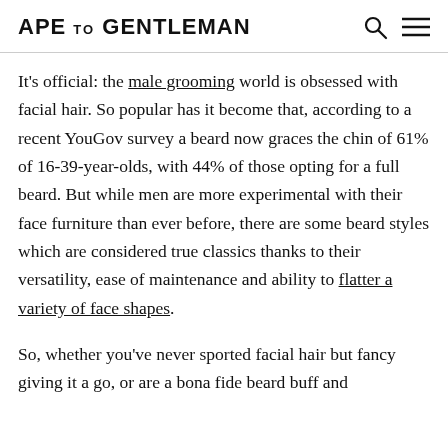APE TO GENTLEMAN
It's official: the male grooming world is obsessed with facial hair. So popular has it become that, according to a recent YouGov survey a beard now graces the chin of 61% of 16-39-year-olds, with 44% of those opting for a full beard. But while men are more experimental with their face furniture than ever before, there are some beard styles which are considered true classics thanks to their versatility, ease of maintenance and ability to flatter a variety of face shapes.
So, whether you've never sported facial hair but fancy giving it a go, or are a bona fide beard buff and